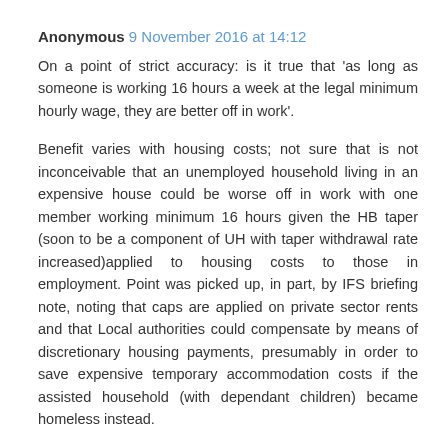Anonymous 9 November 2016 at 14:12
On a point of strict accuracy: is it true that 'as long as someone is working 16 hours a week at the legal minimum hourly wage, they are better off in work'.
Benefit varies with housing costs; not sure that is not inconceivable that an unemployed household living in an expensive house could be worse off in work with one member working minimum 16 hours given the HB taper (soon to be a component of UH with taper withdrawal rate increased)applied to housing costs to those in employment. Point was picked up, in part, by IFS briefing note, noting that caps are applied on private sector rents and that Local authorities could compensate by means of discretionary housing payments, presumably in order to save expensive temporary accommodation costs if the assisted household (with dependant children) became homeless instead.
Does not detract from general point, well put.
That said,